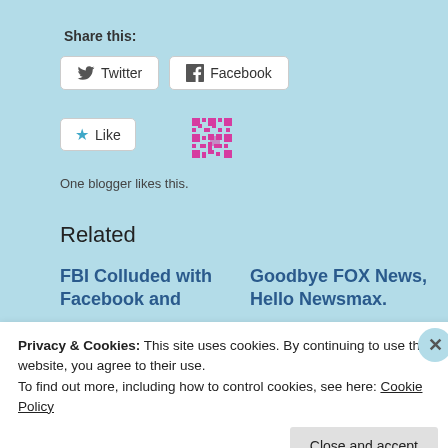Share this:
Twitter
Facebook
[Figure (other): Like button with star icon and Wordpress reblog QR icon]
One blogger likes this.
Related
FBI Colluded with Facebook and
Goodbye FOX News, Hello Newsmax.
Privacy & Cookies: This site uses cookies. By continuing to use this website, you agree to their use.
To find out more, including how to control cookies, see here: Cookie Policy
Close and accept